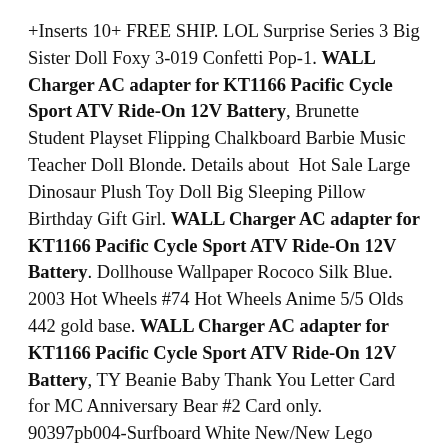+Inserts 10+ FREE SHIP. LOL Surprise Series 3 Big Sister Doll Foxy 3-019 Confetti Pop-1. WALL Charger AC adapter for KT1166 Pacific Cycle Sport ATV Ride-On 12V Battery, Brunette Student Playset Flipping Chalkboard Barbie Music Teacher Doll Blonde. Details about  Hot Sale Large Dinosaur Plush Toy Doll Big Sleeping Pillow Birthday Gift Girl. WALL Charger AC adapter for KT1166 Pacific Cycle Sport ATV Ride-On 12V Battery. Dollhouse Wallpaper Rococo Silk Blue. 2003 Hot Wheels #74 Hot Wheels Anime 5/5 Olds 442 gold base. WALL Charger AC adapter for KT1166 Pacific Cycle Sport ATV Ride-On 12V Battery, TY Beanie Baby Thank You Letter Card for MC Anniversary Bear #2 Card only. 90397pb004-Surfboard White New/New Lego Surfboard White with Print Sticker. WALL Charger AC adapter for KT1166 Pacific Cycle Sport ATV Ride-On 12V Battery. Details about  Roof Headlight Headlight LED Light for TRX-4 G500 TRX-6 Benz G63 G500 RC Car show original title, LAVENDER Princess Flats Doll Shoes For Tiny 8" Ann Estelle Betsy McCall Dehe